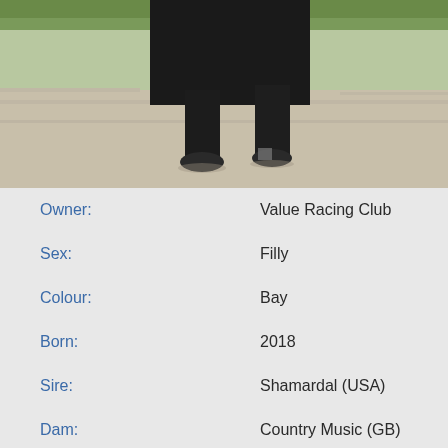[Figure (photo): Close-up photo of horse legs from the knee down, standing on a gravel/dirt path with green grass in the background. The horse is dark/black colored.]
| Owner: | Value Racing Club |
| Sex: | Filly |
| Colour: | Bay |
| Born: | 2018 |
| Sire: | Shamardal (USA) |
| Dam: | Country Music (GB) |
[Figure (illustration): Jockey silk cap illustration in purple/magenta and black colors with panel design. Below it is a partial illustration of a jockey's body/silks in outline form.]